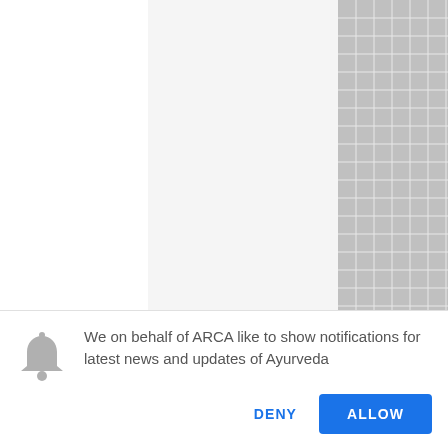[Figure (screenshot): Browser notification permission dialog overlay on a website. Top portion shows a light gray webpage area with a white left column and a gray grid pattern on the right. Bottom portion is white with a notification prompt.]
We on behalf of ARCA like to show notifications for latest news and updates of Ayurveda
DENY
ALLOW